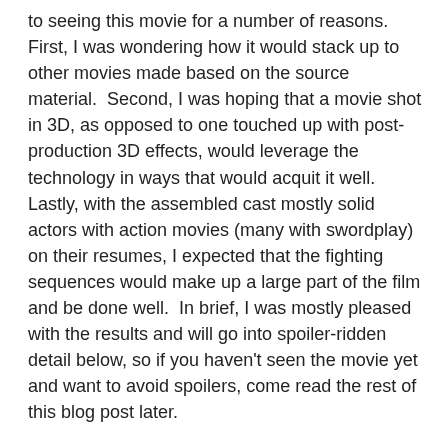to seeing this movie for a number of reasons.  First, I was wondering how it would stack up to other movies made based on the source material.  Second, I was hoping that a movie shot in 3D, as opposed to one touched up with post-production 3D effects, would leverage the technology in ways that would acquit it well.  Lastly, with the assembled cast mostly solid actors with action movies (many with swordplay) on their resumes, I expected that the fighting sequences would make up a large part of the film and be done well.  In brief, I was mostly pleased with the results and will go into spoiler-ridden detail below, so if you haven't seen the movie yet and want to avoid spoilers, come read the rest of this blog post later.
As to its relationship to the original text by Alexandre Dumas, the screenplay holds true to many of the original plot points and scene work.  D'Artagnan meets Rochefort early on when he insults D'Artagnan's horse, though the scene plays out somewhat differently.  Once in Paris, D'Artagnan does wind up with three duels scheduled with the titular Musketeers and they do join forces to fight and defeat Cardinal Richelieu's guards (though 40, not just 5), becoming